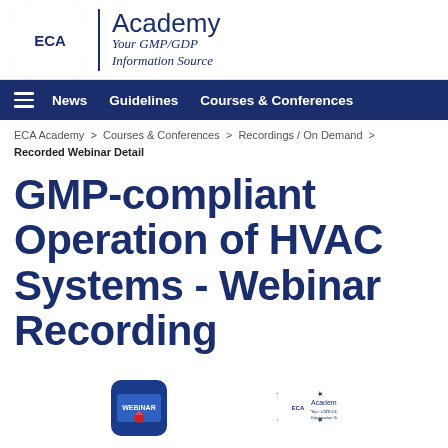[Figure (logo): ECA Academy logo with EU stars circle, vertical divider, 'Academy' title and 'Your GMP/GDP Information Source' subtitle]
News   Guidelines   Courses & Conferences
ECA Academy > Courses & Conferences > Recordings / On Demand > Recorded Webinar Detail
GMP-compliant Operation of HVAC Systems - Webinar Recording
[Figure (logo): Webinar recording badge icon (blue rounded square with WEBINAR label)]
[Figure (logo): Small ECA Academy logo (bottom right)]